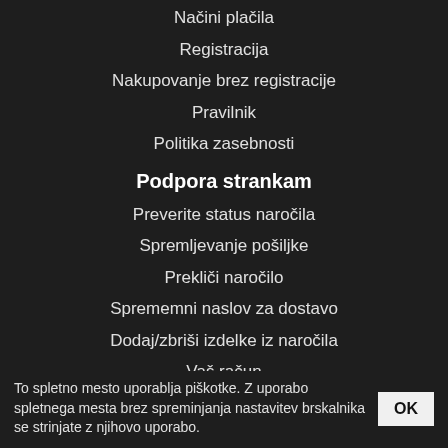Načini plačila
Registracija
Nakupovanje brez registracije
Pravilnik
Politika zasebnosti
Podpora strankam
Preverite status naročila
Spremljevanje pošiljke
Prekliči naročilo
Sprememni naslov za dostavo
Dodaj/zbriši izdelke iz naročila
Vaš račun
Reklamacije
To spletno mesto uporablja piškotke. Z uporabo spletnega mesta brez spreminjanja nastavitev brskalnika se strinjate z njihovo uporabo.  OK